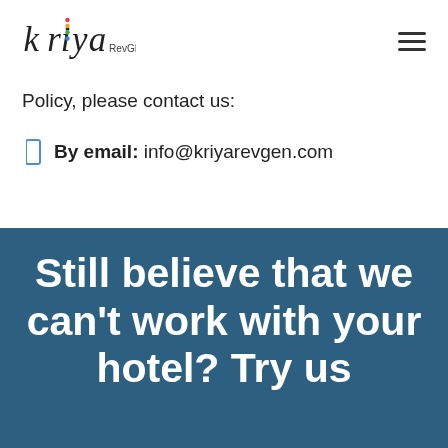[Figure (logo): Kriya RevGEN logo with colorful dot pattern in the letter i]
Policy, please contact us:
By email: info@kriyarevgen.com
Still believe that we can't work with your hotel? Try us